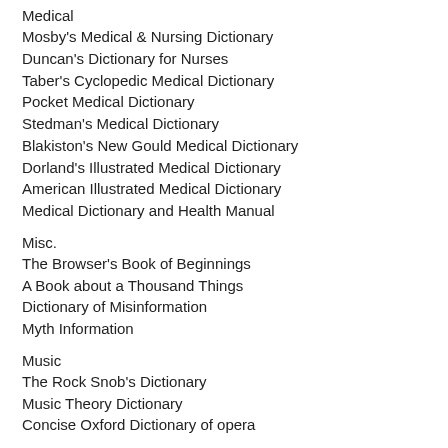Medical
Mosby's Medical & Nursing Dictionary
Duncan's Dictionary for Nurses
Taber's Cyclopedic Medical Dictionary
Pocket Medical Dictionary
Stedman's Medical Dictionary
Blakiston's New Gould Medical Dictionary
Dorland's Illustrated Medical Dictionary
American Illustrated Medical Dictionary
Medical Dictionary and Health Manual
Misc.
The Browser's Book of Beginnings
A Book about a Thousand Things
Dictionary of Misinformation
Myth Information
Music
The Rock Snob's Dictionary
Music Theory Dictionary
Concise Oxford Dictionary of opera